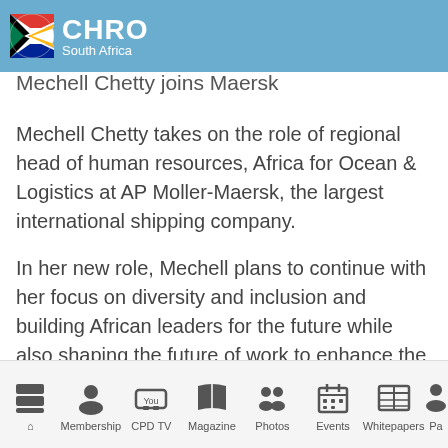CHRO South Africa
Mechell Chetty joins Maersk
Mechell Chetty takes on the role of regional head of human resources, Africa for Ocean & Logistics at AP Moller-Maersk, the largest international shipping company.
In her new role, Mechell plans to continue with her focus on diversity and inclusion and building African leaders for the future while also shaping the future of work to enhance the employee experience.
Membership | CPD TV | Magazine | Photos | Events | Whitepapers | Pa...